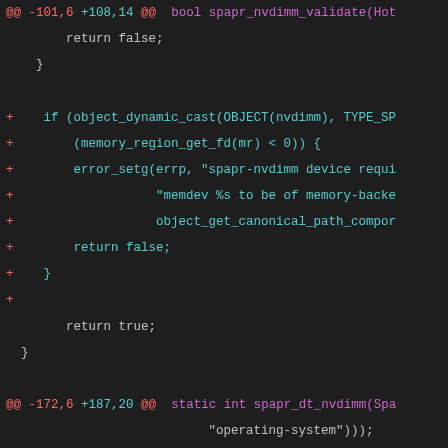[Figure (screenshot): Code diff viewer showing changes to spapr_nvdimm_validate and spapr_dt_nvdimm functions in C source code. Added lines shown in cyan, context lines in light gray, hunk headers in magenta.]